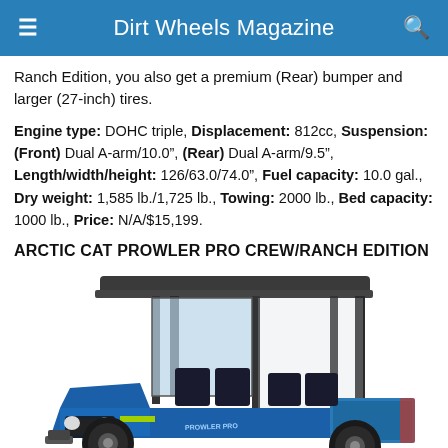Dirt Wheels Magazine
Ranch Edition, you also get a premium (Rear) bumper and larger (27-inch) tires.
Engine type: DOHC triple, Displacement: 812cc, Suspension: (Front) Dual A-arm/10.0", (Rear) Dual A-arm/9.5", Length/width/height: 126/63.0/74.0", Fuel capacity: 10.0 gal., Dry weight: 1,585 lb./1,725 lb., Towing: 2000 lb., Bed capacity: 1000 lb., Price: N/A/$15,199.
ARCTIC CAT PROWLER PRO CREW/RANCH EDITION
[Figure (photo): Blue Arctic Cat Prowler Pro Crew/Ranch Edition UTV with dark roof canopy, roll cage, windshield, and cargo bed, photographed from a front three-quarter angle on a white background.]